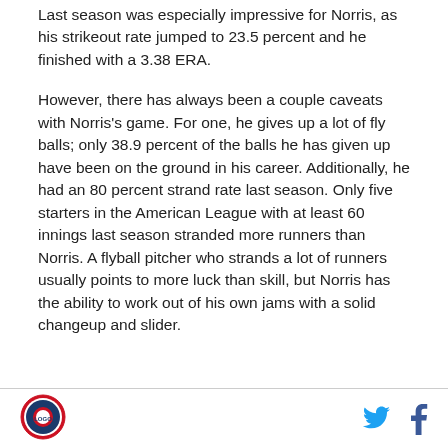Last season was especially impressive for Norris, as his strikeout rate jumped to 23.5 percent and he finished with a 3.38 ERA.
However, there has always been a couple caveats with Norris's game. For one, he gives up a lot of fly balls; only 38.9 percent of the balls he has given up have been on the ground in his career. Additionally, he had an 80 percent strand rate last season. Only five starters in the American League with at least 60 innings last season stranded more runners than Norris. A flyball pitcher who strands a lot of runners usually points to more luck than skill, but Norris has the ability to work out of his own jams with a solid changeup and slider.
[Figure (logo): Circular sports team logo with red border and blue/red design inside]